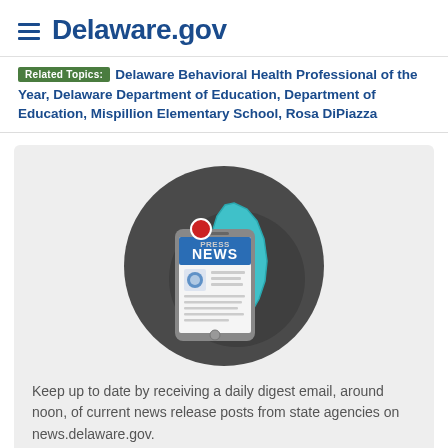Delaware.gov
Related Topics: Delaware Behavioral Health Professional of the Year, Delaware Department of Education, Department of Education, Mispillion Elementary School, Rosa DiPiazza
[Figure (illustration): Circular icon with dark grey background showing a smartphone displaying a NEWS release page with a red notification dot, overlaid with a cyan/teal silhouette of the state of Delaware]
Keep up to date by receiving a daily digest email, around noon, of current news release posts from state agencies on news.delaware.gov.